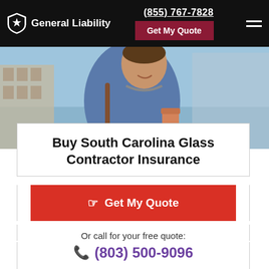General Liability | (855) 767-7828 | Get My Quote
[Figure (photo): Hero image of a smiling man in a blue jacket carrying a bag and holding a coffee cup, with buildings in the background against a blue sky.]
Buy South Carolina Glass Contractor Insurance
Get My Quote
Or call for your free quote:
(803) 500-9096